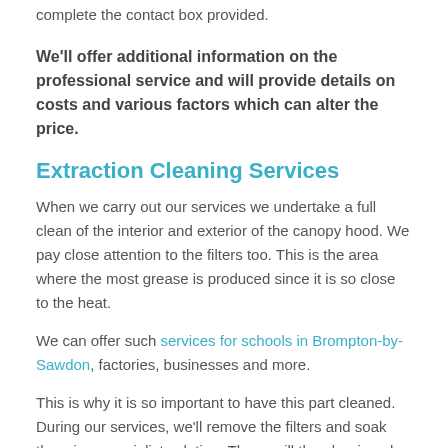complete the contact box provided.
We'll offer additional information on the professional service and will provide details on costs and various factors which can alter the price.
Extraction Cleaning Services
When we carry out our services we undertake a full clean of the interior and exterior of the canopy hood. We pay close attention to the filters too. This is the area where the most grease is produced since it is so close to the heat.
We can offer such services for schools in Brompton-by-Sawdon, factories, businesses and more.
This is why it is so important to have this part cleaned. During our services, we'll remove the filters and soak them in a specialist solution. These will then be rinsed and replaced.
We degrease the interior to arm's length and further if possible. We also install access panels at regular intervals to help improve the airflow and maintain a perfect working temperature.